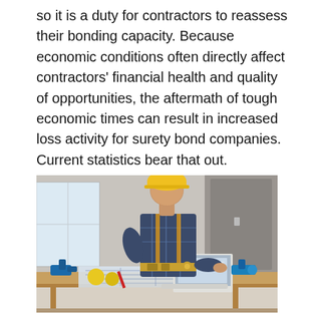so it is a duty for contractors to reassess their bonding capacity. Because economic conditions often directly affect contractors' financial health and quality of opportunities, the aftermath of tough economic times can result in increased loss activity for surety bond companies. Current statistics bear that out.
[Figure (photo): A construction worker wearing a yellow hard hat and tool belt leans over a workbench looking at a laptop, with construction tools and blueprints spread on the table.]